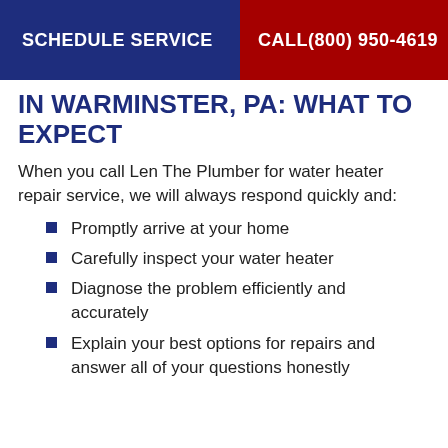SCHEDULE SERVICE | CALL(800) 950-4619
IN WARMINSTER, PA: WHAT TO EXPECT
When you call Len The Plumber for water heater repair service, we will always respond quickly and:
Promptly arrive at your home
Carefully inspect your water heater
Diagnose the problem efficiently and accurately
Explain your best options for repairs and answer all of your questions honestly